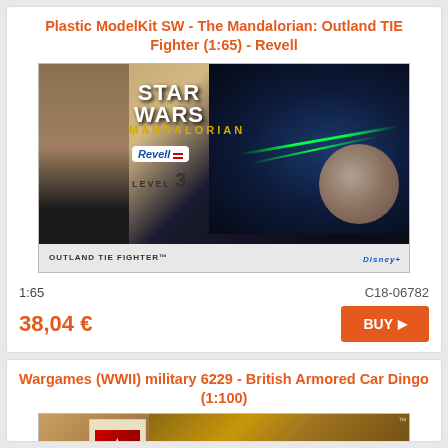Plastic ModelKit SW - The Mandalorian: Outland TIE Fighter (1:65) - Revell
[Figure (photo): Product box art for Revell Star Wars The Mandalorian Outland TIE Fighter model kit, showing STAR WARS MANDALORIAN branding, Revell Level 3, and space scene with TIE fighters]
1:65
C18-06782
38,04 €
BUY
Wargames (WWII) military 6229 - British Armored Car Dingo (1:100)
[Figure (photo): Product box art for Zvezda Wargames WWII military British Armored Car Dingo 1:100 scale model]